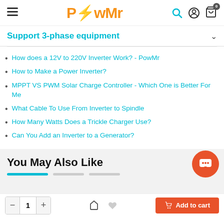PowMr
Support 3-phase equipment
How does a 12V to 220V Inverter Work? - PowMr
How to Make a Power Inverter?
MPPT VS PWM Solar Charge Controller - Which One is Better For Me
What Cable To Use From Inverter to Spindle
How Many Watts Does a Trickle Charger Use?
Can You Add an Inverter to a Generator?
You May Also Like